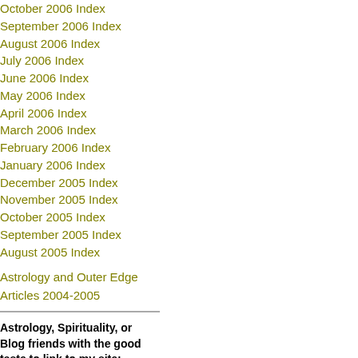October 2006 Index
September 2006 Index
August 2006 Index
July 2006 Index
June 2006 Index
May 2006 Index
April 2006 Index
March 2006 Index
February 2006 Index
January 2006 Index
December 2005 Index
November 2005 Index
October 2005 Index
September 2005 Index
August 2005 Index
Astrology and Outer Edge Articles 2004-2005
Astrology, Spirituality, or Blog friends with the good taste to link to my site:
at pas pre and futu in ter of wh the Su cor Ma set a nev 2 yea per into mo as we as wh